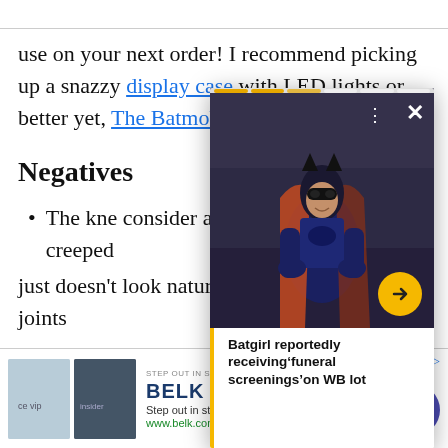use on your next order! I recommend picking up a snazzy display case with LED lights or, better yet, The Batmobile that's…
Negatives
The knee… consider… are the fi… creeped… just doesn't look natural. All other bending joints
[Figure (photo): Popup overlay showing a photo of Batgirl character in costume with headline text 'Batgirl reportedly receiving 'funeral screenings' on WB lot' and a yellow arrow navigation button. A progress bar appears at the top of the popup.]
[Figure (screenshot): Advertisement bar for BELK store at the bottom of the page. Shows 'STEP OUT IN STYLE' tagline, BELK brand name, 'Step out in style.' text, www.belk.com URL, two product images, close button, and a blue circular navigation arrow.]